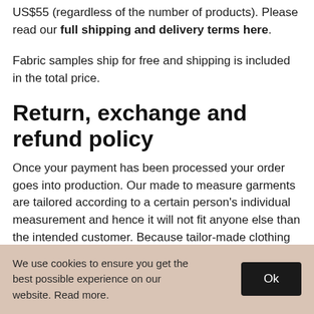US$55 (regardless of the number of products). Please read our full shipping and delivery terms here.
Fabric samples ship for free and shipping is included in the total price.
Return, exchange and refund policy
Once your payment has been processed your order goes into production. Our made to measure garments are tailored according to a certain person’s individual measurement and hence it will not fit anyone else than the intended customer. Because tailor-made clothing does not
We use cookies to ensure you get the best possible experience on our website. Read more.